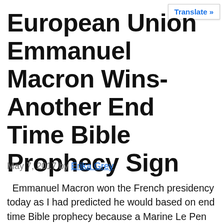Translate »
European Union Emmanuel Macron Wins- Another End Time Bible Prophecy Sign
May 7, 2017 by Erika Grey
Emmanuel Macron won the French presidency today as I had predicted he would based on end time Bible prophecy because a Marine Le Pen win would have possibly meant the end of the European Union and it would have put a wrench in the development of the EU. With all of the other signs that...